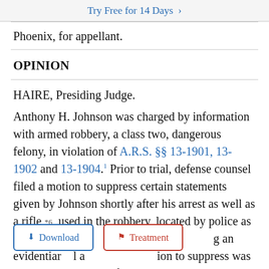Try Free for 14 Days >
Phoenix, for appellant.
OPINION
HAIRE, Presiding Judge.
Anthony H. Johnson was charged by information with armed robbery, a class two, dangerous felony, in violation of A.R.S. §§ 13-1901, 13-1902 and 13-1904.1 Prior to trial, defense counsel filed a motion to suppress certain statements given by Johnson shortly after his arrest as well as a rifle *6 used in the robbery, located by police as a [Download] [Treatment] an evidentiary [hearing] a [grant] ion to suppress was denied. Johnson was found guilty as